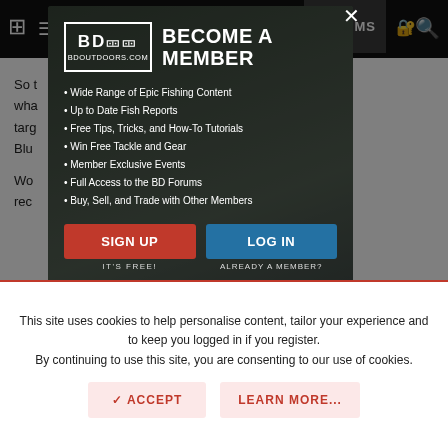FORUMS
[Figure (screenshot): BD Outdoors become a member modal overlay with logo, bullet list of benefits, SIGN UP and LOG IN buttons over a fishing photo background]
So t... ishing technique, wha... ? I would be targ... arger 60 -80# Blu...
Wo... nething you would reco...
↩ Reply
This site uses cookies to help personalise content, tailor your experience and to keep you logged in if you register. By continuing to use this site, you are consenting to our use of cookies.
✓ ACCEPT   LEARN MORE...